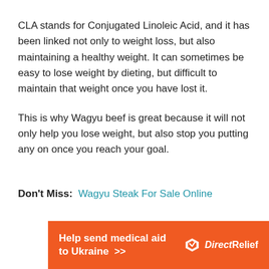CLA stands for Conjugated Linoleic Acid, and it has been linked not only to weight loss, but also maintaining a healthy weight. It can sometimes be easy to lose weight by dieting, but difficult to maintain that weight once you have lost it.
This is why Wagyu beef is great because it will not only help you lose weight, but also stop you putting any on once you reach your goal.
Don't Miss:  Wagyu Steak For Sale Online
[Figure (infographic): Orange advertisement banner for Direct Relief: 'Help send medical aid to Ukraine >>' with DirectRelief logo (white bird/shield icon) on orange background.]